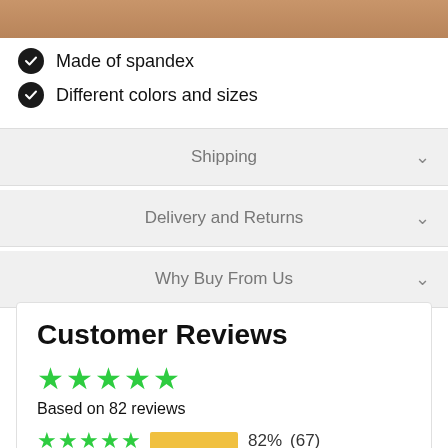[Figure (photo): Product photo strip showing skin/fabric texture at top of page]
Made of spandex
Different colors and sizes
Shipping
Delivery and Returns
Why Buy From Us
Customer Reviews
Based on 82 reviews
82%  (67)